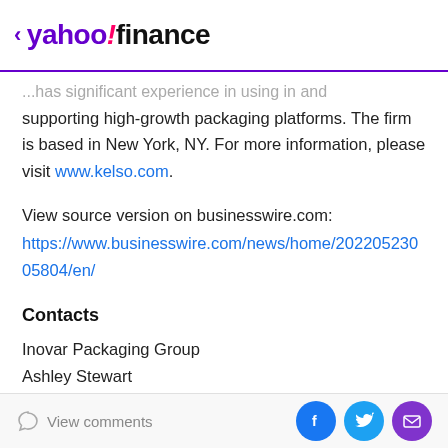< yahoo!finance
...has significant experience in using in and supporting high-growth packaging platforms. The firm is based in New York, NY. For more information, please visit www.kelso.com.
View source version on businesswire.com: https://www.businesswire.com/news/home/20220523005804/en/
Contacts
Inovar Packaging Group
Ashley Stewart
413-639-7169
astewart@dionlabel.com
View comments